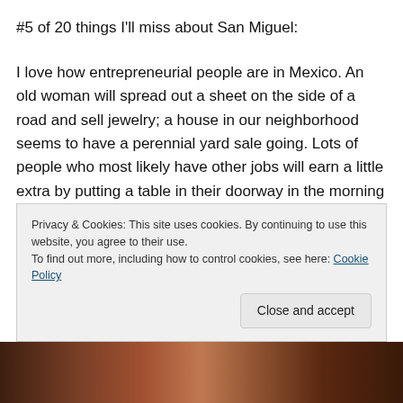#5 of 20 things I'll miss about San Miguel:
I love how entrepreneurial people are in Mexico.  An old woman will spread out a sheet on the side of a road and sell jewelry; a house in our neighborhood seems to have a perennial yard sale going.  Lots of people who most likely have other jobs will earn a little extra by putting a table in their doorway in the morning to sell bread, pastries, jello, and juice to people on their way to work and school. (Once I saw a guy drinking a raw egg & Tres Coronas sherry.  *shudder*)  One place right around the corner
Privacy & Cookies: This site uses cookies. By continuing to use this website, you agree to their use.
To find out more, including how to control cookies, see here: Cookie Policy
[Figure (photo): Photo strip at bottom of page showing partial view of people or market scene]